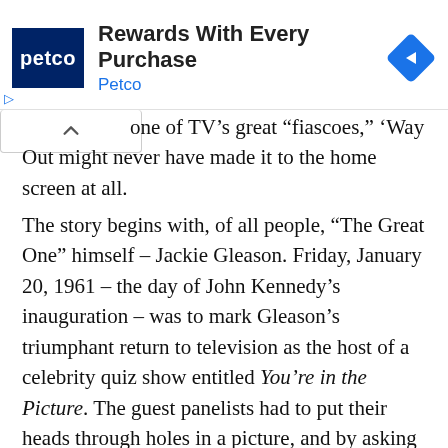[Figure (other): Petco advertisement banner with Petco logo (dark blue square with white text), ad title 'Rewards With Every Purchase', subtitle 'Petco', and a blue diamond navigation icon on the right. Small play and close controls on the left below the banner.]
one of TV's great “fiascoes,” ‘Way Out might never have made it to the home screen at all.
The story begins with, of all people, “The Great One” himself – Jackie Gleason. Friday, January 20, 1961 – the day of John Kennedy’s inauguration – was to mark Gleason’s triumphant return to television as the host of a celebrity quiz show entitled You’re in the Picture. The guest panelists had to put their heads through holes in a picture, and by asking Gleason pertinent questions, try to figure out